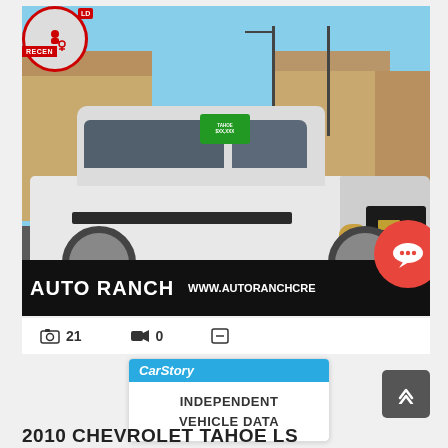[Figure (photo): White 2010 Chevrolet Tahoe LS SUV parked at Auto Ranch dealership lot. The vehicle is white, facing right, with chrome wheels and a running board. Dealership banner reads AUTO RANCH and WWW.AUTORANCHCRE... A red RECENTLY SOLD badge is at the top-left corner of the photo. A green price tag sticker is visible on the windshield.]
📷 21   🎥 0
CarStory
INDEPENDENT VEHICLE DATA
2010 CHEVROLET TAHOE LS